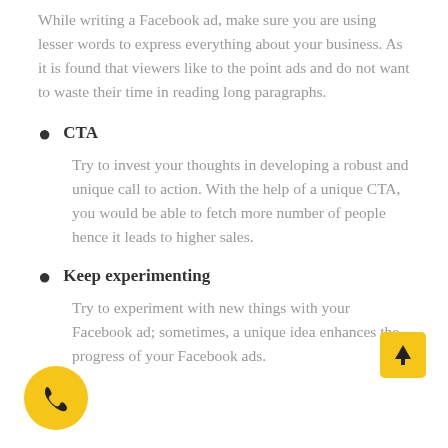While writing a Facebook ad, make sure you are using lesser words to express everything about your business. As it is found that viewers like to the point ads and do not want to waste their time in reading long paragraphs.
CTA
Try to invest your thoughts in developing a robust and unique call to action. With the help of a unique CTA, you would be able to fetch more number of people hence it leads to higher sales.
Keep experimenting
Try to experiment with new things with your Facebook ad; sometimes, a unique idea enhances the progress of your Facebook ads.